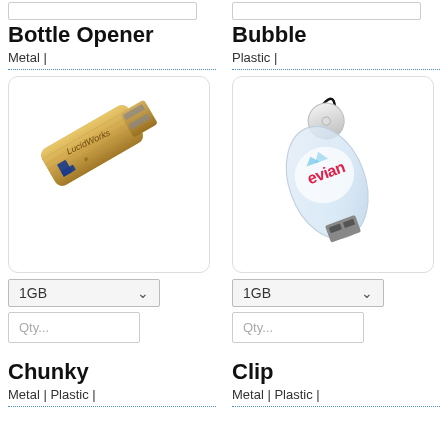[Figure (other): Top partial row showing two product input boxes (truncated at top of page)]
Bottle Opener
Metal |
[Figure (photo): Gold metallic USB flash drive with LucidWorks logo, bottle opener style]
1GB dropdown selector
Qty... input field
Bubble
Plastic |
[Figure (photo): Clear plastic bubble-shaped USB flash drive with evian branding and lanyard loop]
1GB dropdown selector
Qty... input field
Chunky
Metal | Plastic |
Clip
Metal | Plastic |